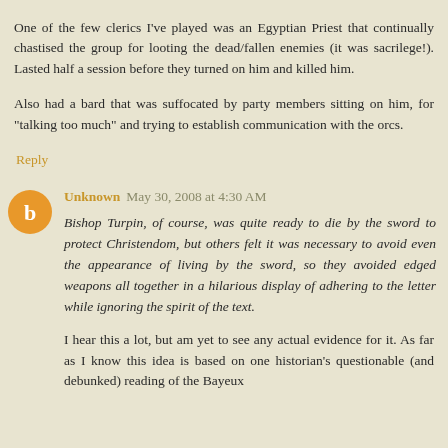One of the few clerics I've played was an Egyptian Priest that continually chastised the group for looting the dead/fallen enemies (it was sacrilege!). Lasted half a session before they turned on him and killed him.
Also had a bard that was suffocated by party members sitting on him, for "talking too much" and trying to establish communication with the orcs.
Reply
Unknown May 30, 2008 at 4:30 AM
Bishop Turpin, of course, was quite ready to die by the sword to protect Christendom, but others felt it was necessary to avoid even the appearance of living by the sword, so they avoided edged weapons all together in a hilarious display of adhering to the letter while ignoring the spirit of the text.
I hear this a lot, but am yet to see any actual evidence for it. As far as I know this idea is based on one historian's questionable (and debunked) reading of the Bayeux